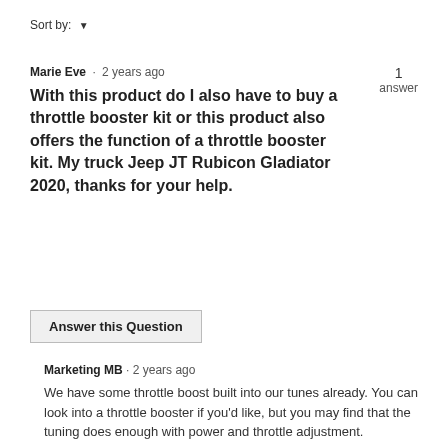Sort by: ▼
Marie Eve · 2 years ago
1 answer
With this product do I also have to buy a throttle booster kit or this product also offers the function of a throttle booster kit. My truck Jeep JT Rubicon Gladiator 2020, thanks for your help.
Answer this Question
Marketing MB · 2 years ago
We have some throttle boost built into our tunes already. You can look into a throttle booster if you'd like, but you may find that the tuning does enough with power and throttle adjustment.